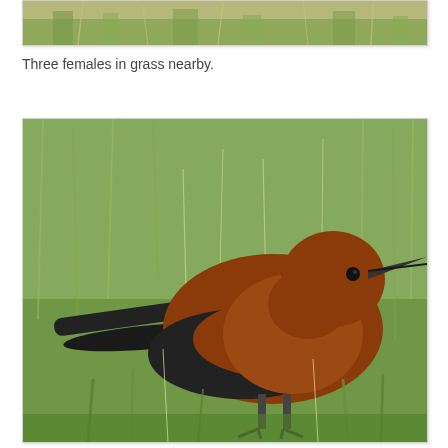[Figure (photo): Partial view of grass field, top of the image cropped — bottom portion of a previous photo showing dry and green grass]
Three females in grass nearby.
[Figure (photo): A brown and black bird (female grackle or similar species) standing in green grass, facing right with a long dark beak, brown head and breast, dark wings and tail]